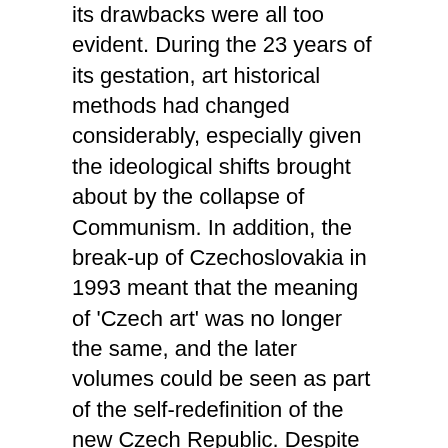its drawbacks were all too evident. During the 23 years of its gestation, art historical methods had changed considerably, especially given the ideological shifts brought about by the collapse of Communism. In addition, the break-up of Czechoslovakia in 1993 meant that the meaning of 'Czech art' was no longer the same, and the later volumes could be seen as part of the self-redefinition of the new Czech Republic. Despite such caveats, it was still a major work of reference, but it was hampered by one single factor: it was only published in Czech. For linguistic reasons alone, therefore, its potential impact was limited.
In order to counter this, the Institute has published Art in the Czech Lands 800-2000 in English translation. It is not on the same scale as the earlier work, but it is similarly impressive in scope. Coming to nearly 1000 pages, and with hundreds of